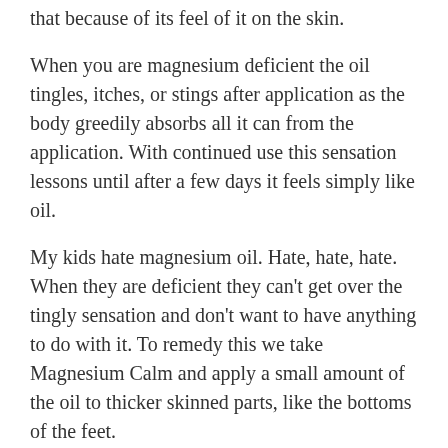that because of its feel of it on the skin.
When you are magnesium deficient the oil tingles, itches, or stings after application as the body greedily absorbs all it can from the application. With continued use this sensation lessons until after a few days it feels simply like oil.
My kids hate magnesium oil. Hate, hate, hate. When they are deficient they can't get over the tingly sensation and don't want to have anything to do with it. To remedy this we take Magnesium Calm and apply a small amount of the oil to thicker skinned parts, like the bottoms of the feet.
To make your own magnesium oil simply boil 1 C distilled water and combine with 1 C magnesium chloride flakes. Stir to combine, cool, and transfer to a clean spray bottle. That's it. For real.